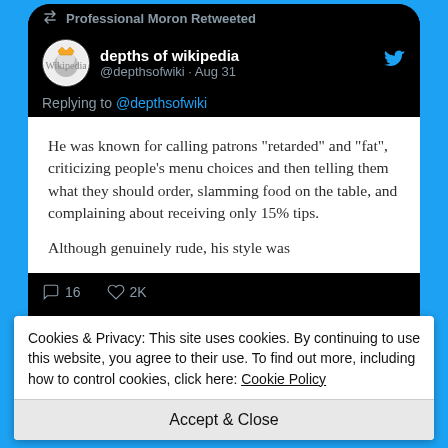[Figure (screenshot): Screenshot of a Twitter/X mobile app showing a retweet by 'Professional Moron' of a tweet by 'depths of wikipedia' (@depthsofwiki, Aug 31), replying to @depthsofwiki. The tweet content shows a Wikipedia excerpt about a person known for calling patrons 'retarded' and 'fat', criticizing menu choices, slamming food, and complaining about 15% tips. Engagement shows 16 comments and 2K likes.]
Cookies & Privacy: This site uses cookies. By continuing to use this website, you agree to their use. To find out more, including how to control cookies, click here: Cookie Policy
Accept & Close